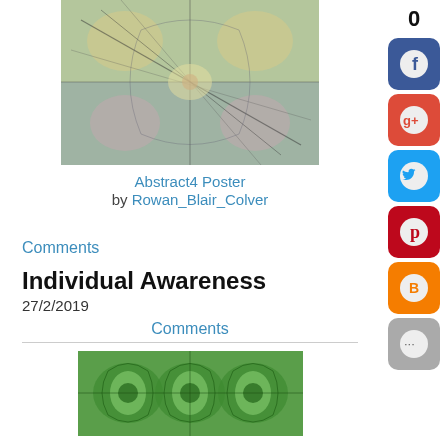[Figure (illustration): Abstract colorful kaleidoscopic poster image with muted greens, yellows, blues and pinks]
Abstract4 Poster by Rowan_Blair_Colver
0
[Figure (illustration): Facebook share button - blue rounded square icon]
[Figure (illustration): Google+ share button - red rounded square icon]
[Figure (illustration): Twitter share button - blue rounded square icon]
[Figure (illustration): Pinterest share button - red rounded square icon]
[Figure (illustration): Blogger share button - orange rounded square icon]
[Figure (illustration): More options share button - gray rounded square icon with ellipsis]
Comments
Individual Awareness
27/2/2019
Comments
[Figure (illustration): Abstract green kaleidoscopic pattern image at bottom of page]